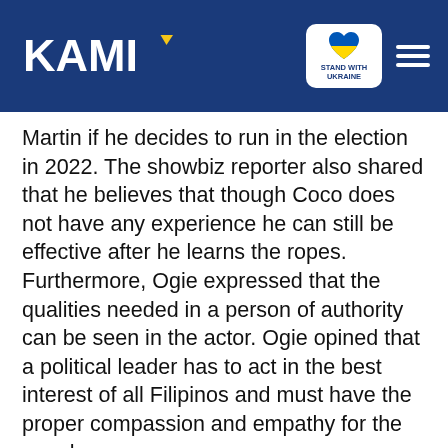KAMI | Stand with Ukraine
Martin if he decides to run in the election in 2022. The showbiz reporter also shared that he believes that though Coco does not have any experience he can still be effective after he learns the ropes. Furthermore, Ogie expressed that the qualities needed in a person of authority can be seen in the actor. Ogie opined that a political leader has to act in the best interest of all Filipinos and must have the proper compassion and empathy for the people.
Advertisement